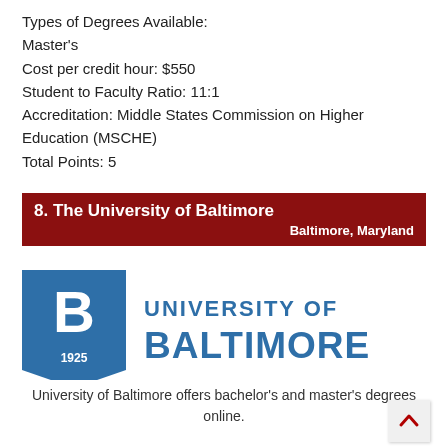Types of Degrees Available:
Master's
Cost per credit hour: $550
Student to Faculty Ratio: 11:1
Accreditation: Middle States Commission on Higher Education (MSCHE)
Total Points: 5
8. The University of Baltimore
Baltimore, Maryland
[Figure (logo): University of Baltimore logo — blue pennant shield with 'B 1925' and text 'UNIVERSITY OF BALTIMORE' in blue on white]
University of Baltimore offers bachelor's and master's degrees online.